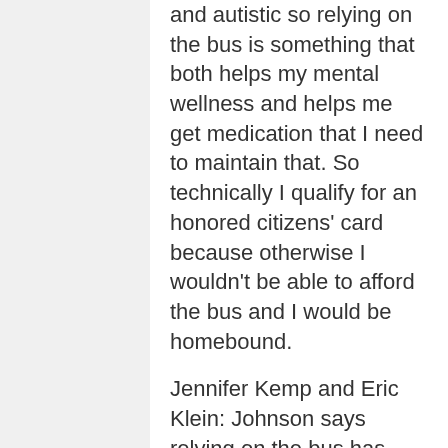and autistic so relying on the bus is something that both helps my mental wellness and helps me get medication that I need to maintain that. So technically I qualify for an honored citizens' card because otherwise I wouldn't be able to afford the bus and I would be homebound.
Jennifer Kemp and Eric Klein: Johnson says relying on the bus has affected his job opportunities.
Johnson: there have been jobs that I couldn't take because the bus simply wouldn't be able to